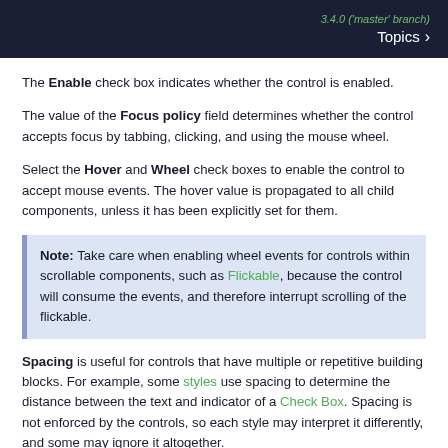3.4.0 ('master' branch) Topics >
The Enable check box indicates whether the control is enabled.
The value of the Focus policy field determines whether the control accepts focus by tabbing, clicking, and using the mouse wheel.
Select the Hover and Wheel check boxes to enable the control to accept mouse events. The hover value is propagated to all child components, unless it has been explicitly set for them.
Note: Take care when enabling wheel events for controls within scrollable components, such as Flickable, because the control will consume the events, and therefore interrupt scrolling of the flickable.
Spacing is useful for controls that have multiple or repetitive building blocks. For example, some styles use spacing to determine the distance between the text and indicator of a Check Box. Spacing is not enforced by the controls, so each style may interpret it differently, and some may ignore it altogether.